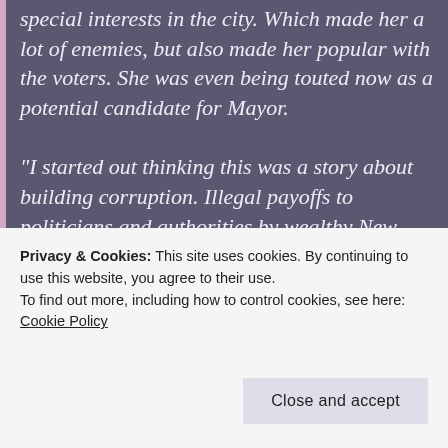special interests in the city. Which made her a lot of enemies, but also made her popular with the voters. She was even being touted now as a potential candidate for Mayor.

“I started out thinking this was a story about building corruption. Illegal payoffs to politicians and authorities by wealthy New York City landlords. But now it’s bigger than that. Much bigger. There’s
Privacy & Cookies: This site uses cookies. By continuing to use this website, you agree to their use.
To find out more, including how to control cookies, see here: Cookie Policy
Close and accept
More than one murder. Maybe lots of